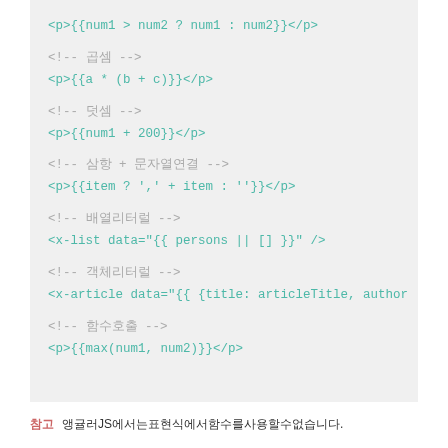<p>{{num1 > num2 ? num1 : num2}}</p>
<!-- 곱셈 -->
<p>{{a * (b + c)}}</p>
<!-- 덧셈 -->
<p>{{num1 + 200}}</p>
<!-- 삼항 + 문자열연결 -->
<p>{{item ? ',' + item : ''}}</p>
<!-- 배열리터럴 -->
<x-list data="{{ persons || [] }}" />
<!-- 객체리터럴 -->
<x-article data="{{ {title: articleTitle, author
<!-- 함수호출 -->
<p>{{max(num1, num2)}}</p>
참고  앵귤러JS에서는표현식에서함수를사용할수없습니다.